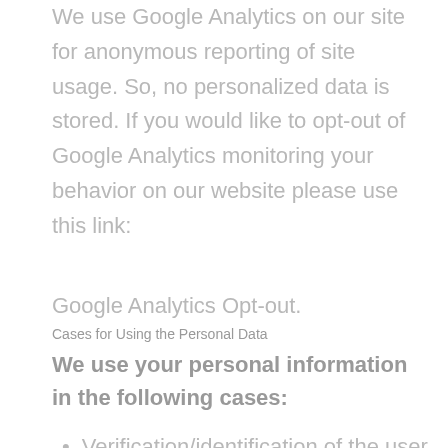We use Google Analytics on our site for anonymous reporting of site usage. So, no personalized data is stored. If you would like to opt-out of Google Analytics monitoring your behavior on our website please use this link: Google Analytics Opt-out.
Cases for Using the Personal Data
We use your personal information in the following cases:
Verification/identification of the user during website usage;